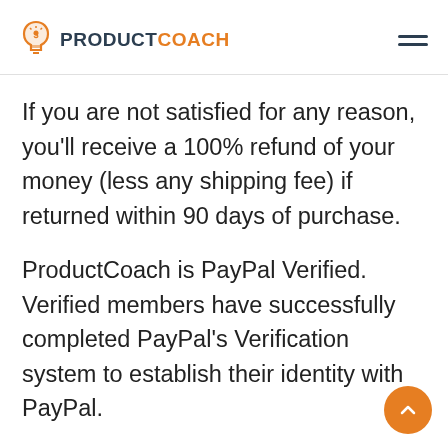[Figure (logo): ProductCoach logo with orange lightbulb icon and text PRODUCTCOACH where PRODUCT is dark and COACH is orange]
If you are not satisfied for any reason, you'll receive a 100% refund of your money (less any shipping fee) if returned within 90 days of purchase.
ProductCoach is PayPal Verified. Verified members have successfully completed PayPal's Verification system to establish their identity with PayPal.